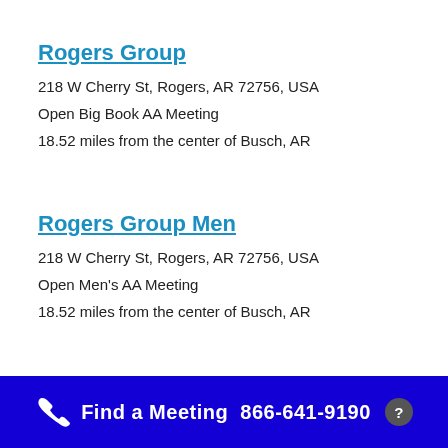Rogers Group
218 W Cherry St, Rogers, AR 72756, USA
Open Big Book AA Meeting
18.52 miles from the center of Busch, AR
Rogers Group Men
218 W Cherry St, Rogers, AR 72756, USA
Open Men's AA Meeting
18.52 miles from the center of Busch, AR
Find a Meeting  866-641-9190